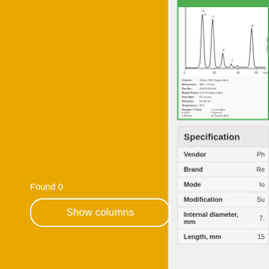Found 0
Show columns
[Figure (continuous-plot): HPLC chromatogram showing several peaks at different retention times, with column specifications listed below the chart including Solvex ODS Organic Acid column, dimensions 300 x 7.8 mm, Part No., Mobile Phase 0.1% H Sulfonic Acid, Flow Rate 0.5 mL/min, Detection UV 80°C, Temperature 60°C, Samples: Citric, Lactic Acid, Malic, Glycerol, Malonic, Propionic Acid, Glucose, Ethanol]
| Specification |  |
| --- | --- |
| Vendor | Ph |
| Brand | Re |
| Mode | Io |
| Modification | Su |
| Internal diameter, mm | 7. |
| Length, mm | 15 |